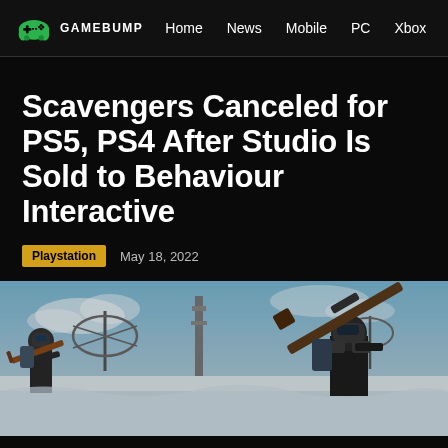GAMEBUMP  Home  News  Mobile  PC  Xbox
Scavengers Canceled for PS5, PS4 After Studio Is Sold to Behaviour Interactive
Playstation  May 18, 2022
[Figure (photo): Screenshot from the game Scavengers showing armored characters with weapons in a snowy post-apocalyptic environment with satellite dishes and industrial structures in the background.]